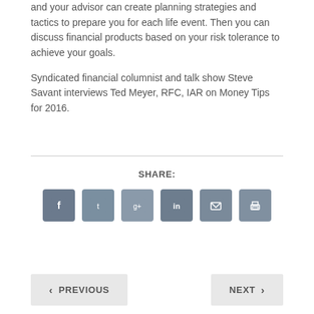and your advisor can create planning strategies and tactics to prepare you for each life event. Then you can discuss financial products based on your risk tolerance to achieve your goals.
Syndicated financial columnist and talk show Steve Savant interviews Ted Meyer, RFC, IAR on Money Tips for 2016.
SHARE:
[Figure (other): Social share icons: Facebook, Twitter, Google+, LinkedIn, Email, Print]
PREVIOUS
NEXT